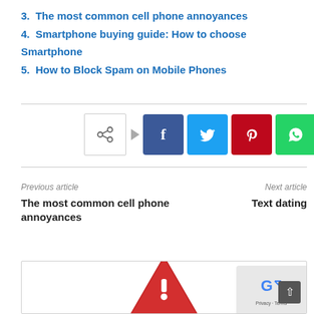3. The most common cell phone annoyances
4. Smartphone buying guide: How to choose Smartphone
5. How to Block Spam on Mobile Phones
[Figure (infographic): Social share buttons: share icon button, Facebook, Twitter, Pinterest, WhatsApp, Telegram]
Previous article
The most common cell phone annoyances
Next article
Text dating
[Figure (illustration): Red attention triangle with exclamation mark and text ATTENTION PLEASE, plus a Google privacy/terms badge with scroll-to-top button]